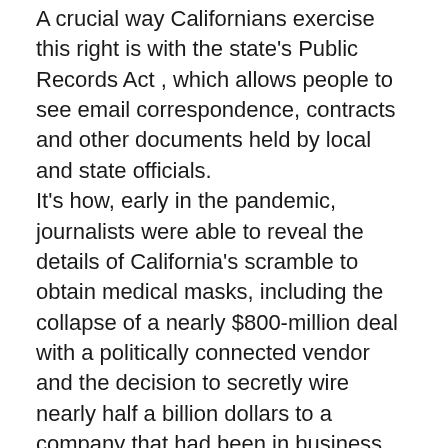A crucial way Californians exercise this right is with the state's Public Records Act , which allows people to see email correspondence, contracts and other documents held by local and state officials. It's how, early in the pandemic, journalists were able to reveal the details of California's scramble to obtain medical masks, including the collapse of a nearly $800-million deal with a politically connected vendor and the decision to secretly wire nearly half a billion dollars to a company that had been in business for just three days — only to quickly call off the deal and claw back the money. Emails obtained under the law allowed The Times and environmental activists to expose how Gov. Gavin Newsom's administration worked to influence decisions in favor of a controversial water desalination plant. And documents The Times obtained under the law showed that the state and...